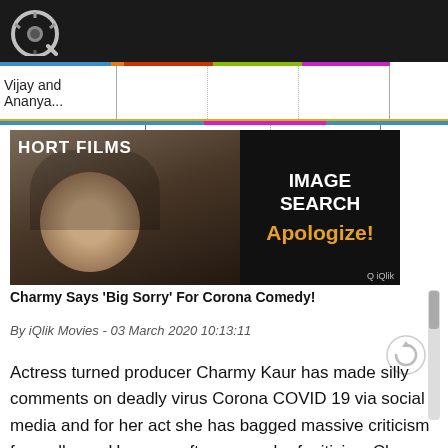[Figure (logo): iQlik Movies logo - Q icon on dark header bar]
Vijay and Ananya...
[Figure (photo): Composite image: left side shows SHORT FILMS label over a woman's photo, right side shows IMAGE SEARCH Apologize! text on dark background]
Charmy Says 'Big Sorry' For Corona Comedy!
By iQlik Movies - 03 March 2020 10:13:11
Actress turned producer Charmy Kaur has made silly comments on deadly virus Corona COVID 19 via social media and for her act she has bagged massive criticism from all over However after so much of criticism Charmy finally said sorry for her